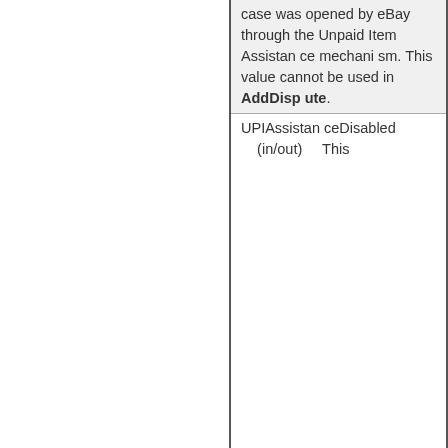| case was opened by eBay through the Unpaid Item Assistance mechanism. This value cannot be used in AddDispute. |
| UPIAssistanceDisabled
(in/out)
This |